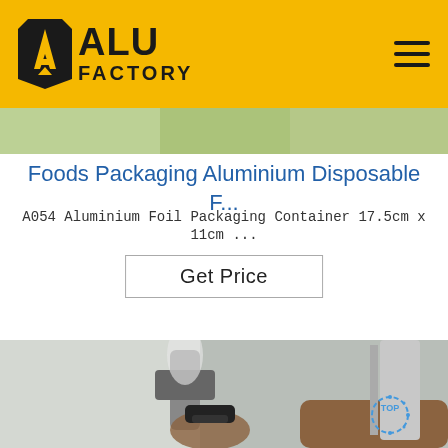ALU FACTORY
[Figure (photo): Thin strip showing a partial product/food image beneath the header]
Foods Packaging Aluminium Disposable F...
A054 Aluminium Foil Packaging Container 17.5cm x 11cm ...
Get Price
[Figure (photo): A person holding a heat gun or similar tool near aluminium foil rolls. A 'TOP' circular dashed icon is visible in the bottom right.]